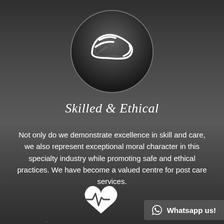[Figure (illustration): A circular dark glassy icon button containing a white outline hand/wing gesture icon in the center]
Skilled & Ethical
Not only do we demonstrate excellence in skill and care, we also represent exceptional moral character in this specialty industry while promoting safe and ethical practices. We have become a valued centre for post care services.
[Figure (illustration): Partial circle outline with a white heart rate/heartbeat icon inside at the bottom of the page]
Whatsapp us!